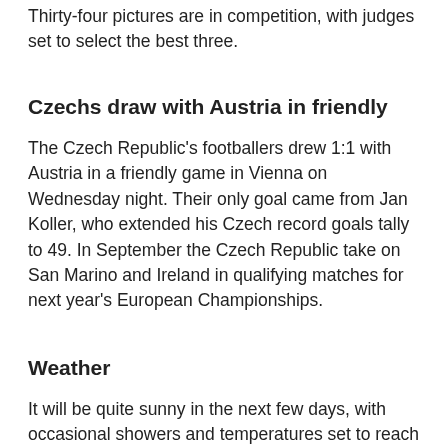Thirty-four pictures are in competition, with judges set to select the best three.
Czechs draw with Austria in friendly
The Czech Republic's footballers drew 1:1 with Austria in a friendly game in Vienna on Wednesday night. Their only goal came from Jan Koller, who extended his Czech record goals tally to 49. In September the Czech Republic take on San Marino and Ireland in qualifying matches for next year's European Championships.
Weather
It will be quite sunny in the next few days, with occasional showers and temperatures set to reach 28